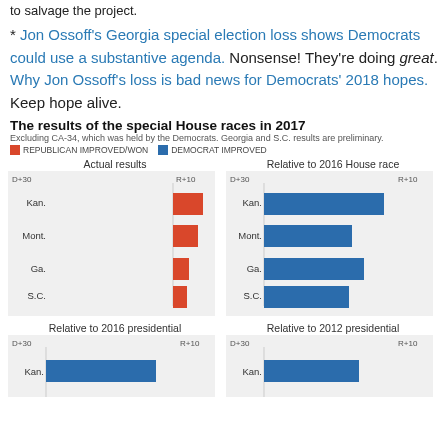to salvage the project.
* Jon Ossoff's Georgia special election loss shows Democrats could use a substantive agenda. Nonsense! They're doing great. Why Jon Ossoff's loss is bad news for Democrats' 2018 hopes. Keep hope alive.
The results of the special House races in 2017
Excluding CA-34, which was held by the Democrats. Georgia and S.C. results are preliminary.
[Figure (grouped-bar-chart): Actual results / Relative to 2016 House race]
[Figure (grouped-bar-chart): Relative to 2016 presidential / Relative to 2012 presidential]